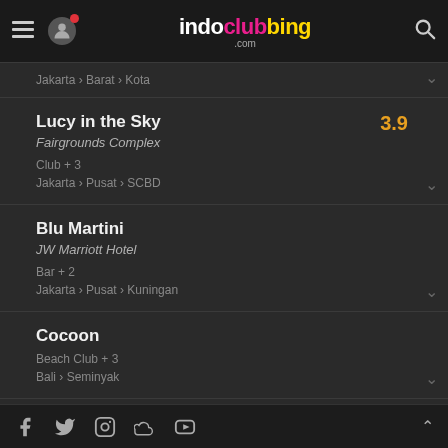indoclubbing.com
Jakarta › Barat › Kota
Lucy in the Sky
Fairgrounds Complex
Club + 3
Jakarta › Pusat › SCBD
Rating: 3.9
Blu Martini
JW Marriott Hotel
Bar + 2
Jakarta › Pusat › Kuningan
Cocoon
Beach Club + 3
Bali › Seminyak
Gusto Tapas & Wine Bar
Club + 1
Jakarta › Pusat
Rating: 4
Social media links: Facebook, Twitter, Instagram, SoundCloud, YouTube